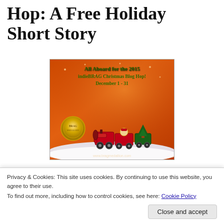Hop: A Free Holiday Short Story
[Figure (illustration): Promotional banner for the 2015 indieBRAG Christmas Blog Hop, December 1-31. Orange/red background with a decorative Christmas train carrying Santa and gifts, a gold BRAG medallion on the left, and green gothic text. URL: www.bragmedallion.com]
B.R.A.G. Medallion authors are taking you on a holiday tour through their blogs. On this stop, enjoy my new short fiction for the season.
Privacy & Cookies: This site uses cookies. By continuing to use this website, you agree to their use.
To find out more, including how to control cookies, see here: Cookie Policy
Close and accept